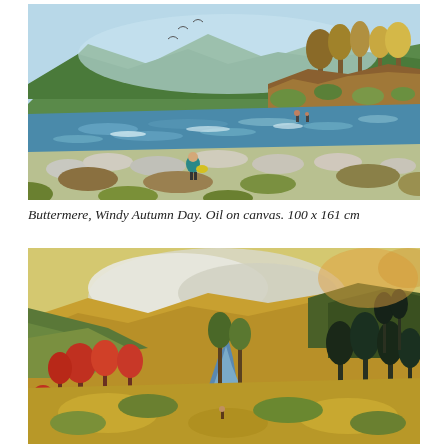[Figure (illustration): Painting of Buttermere lake on a windy autumn day. Rocky shoreline in foreground with a figure in teal jacket, choppy blue-green water, green hillsides with autumn-coloured trees, birds in sky.]
Buttermere, Windy Autumn Day. Oil on canvas. 100 x 161 cm
[Figure (illustration): Painting of an autumn valley landscape with a stream winding through hillsides, colourful trees in reds, greens and dark blues, dramatic sky with clouds, warm golden-yellow hillsides.]